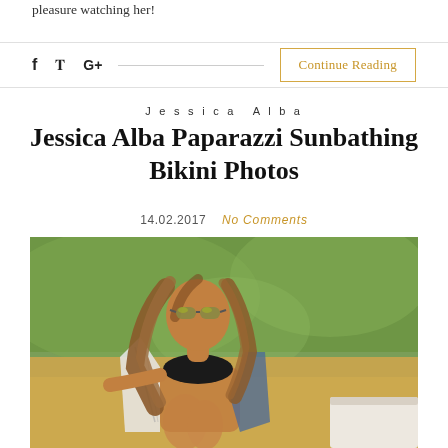pleasure watching her!
f  𝕥  G+   Continue Reading
Jessica Alba
Jessica Alba Paparazzi Sunbathing Bikini Photos
14.02.2017   No Comments
[Figure (photo): Paparazzi photo of a woman with long brown wavy hair, wearing sunglasses and a black bikini top with a patterned open shirt/cover-up, sitting outdoors on green grass with a white lounge chair visible at bottom right.]